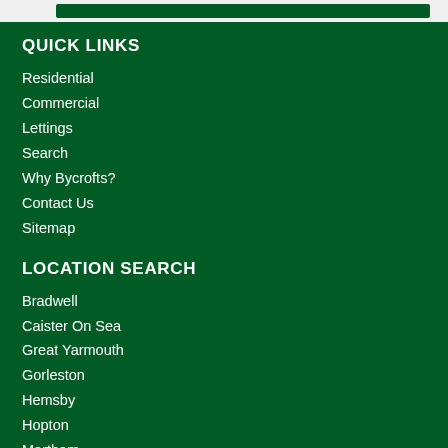QUICK LINKS
Residential
Commercial
Lettings
Search
Why Bycrofts?
Contact Us
Sitemap
LOCATION SEARCH
Bradwell
Caister On Sea
Great Yarmouth
Gorleston
Hemsby
Hopton
Martham
Ormesby St Margaret